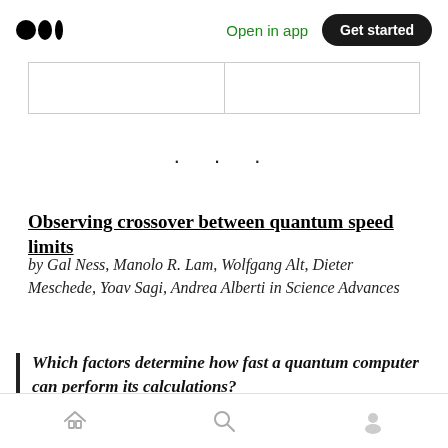Open in app  Get started
|  |  |
· · ·
Observing crossover between quantum speed limits
by Gal Ness, Manolo R. Lam, Wolfgang Alt, Dieter Meschede, Yoav Sagi, Andrea Alberti in Science Advances
Which factors determine how fast a quantum computer can perform its calculations? Physicists at the University of Bonn and the